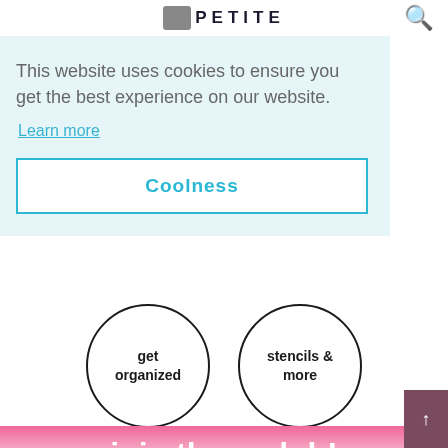PETITE
This website uses cookies to ensure you get the best experience on our website.
Learn more
Coolness
[Figure (illustration): Two circular navigation menu items showing 'get organized' and 'stencils & more' as circle buttons, partially cropped at top]
join the e-club!
First Name
Email Address